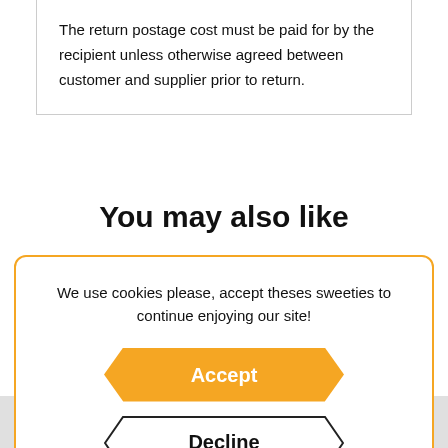The return postage cost must be paid for by the recipient unless otherwise agreed between customer and supplier prior to return.
You may also like
We use cookies please, accept theses sweeties to continue enjoying our site!
Accept
Decline
[Figure (photo): Partial view of a product image at the bottom of the page]